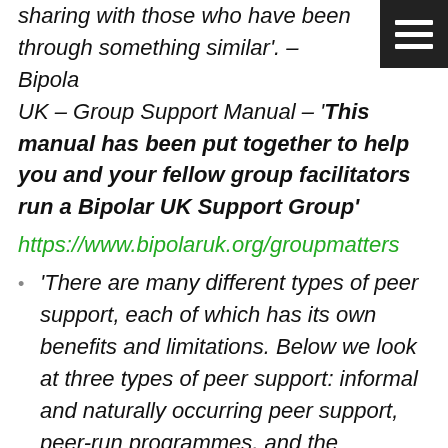sharing with those who have been through something similar'. – Bipolar UK – Group Support Manual – 'This manual has been put together to help you and your fellow group facilitators run a Bipolar UK Support Group' https://www.bipolaruk.org/groupmatters
'There are many different types of peer support, each of which has its own benefits and limitations. Below we look at three types of peer support: informal and naturally occurring peer support, peer-run programmes, and the employment of